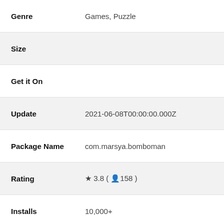| Field | Value |
| --- | --- |
| Genre | Games, Puzzle |
| Size |  |
| Get it On |  |
| Update | 2021-06-08T00:00:00.000Z |
| Package Name | com.marsya.bomboman |
| Rating | ★ 3.8 ( 👤158 ) |
| Installs | 10,000+ |
Description of Kartu Gosokan Bom 1.3.2 APK (MOD – Unlimited Money) APK free for android
Hi! Kartu Gosokan Bom-boman 12 Titik MOD APK Lover's If you are searching to download Latest Kartu Gosokan Bom-boman 12 Titik MOD APK, then congratulations you have come to the right